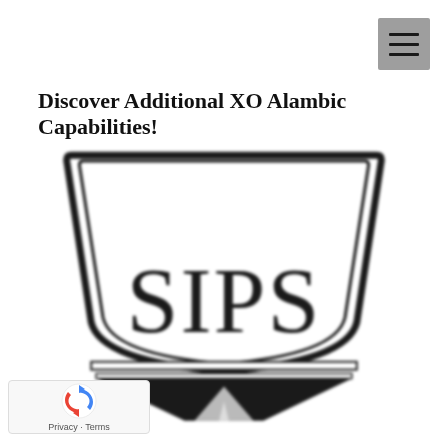[Figure (other): Hamburger menu icon button (three horizontal lines on grey background), top-right corner]
Discover Additional XO Alambic Capabilities!
[Figure (logo): SIPS logo — a brandy snifter/alambic glass shape in black and white with the text 'SIPS' in large serif letters in the upper portion, and a black base. The image is slightly blurred/soft-focus.]
[Figure (other): Google reCAPTCHA badge with spinning arrows icon and 'Privacy · Terms' text in bottom-left corner]